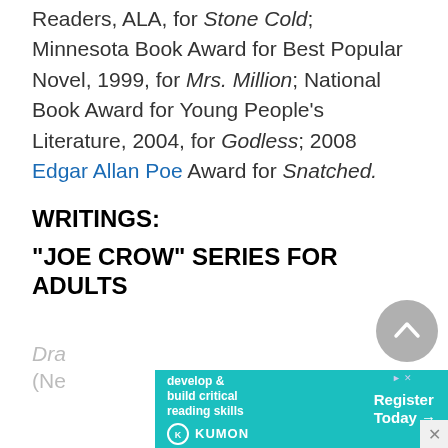Readers, ALA, for Stone Cold; Minnesota Book Award for Best Popular Novel, 1999, for Mrs. Million; National Book Award for Young People's Literature, 2004, for Godless; 2008 Edgar Allan Poe Award for Snatched.
WRITINGS:
"JOE CROW" SERIES FOR ADULTS
Dra... (Ne...
[Figure (other): Kumon advertisement banner with teal background, text 'develop & build critical reading skills', Kumon logo, and 'Register Today' call to action. Close button and back-to-top scroll button also visible.]